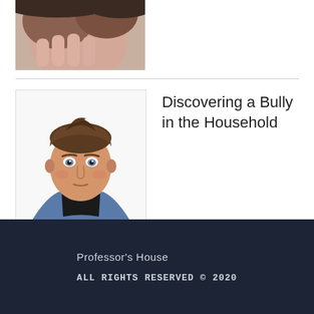[Figure (photo): Partial/cropped image of hands pressed together near face, flesh-toned background]
[Figure (photo): Portrait photo of a teenage boy with short brown hair, wearing a dark hoodie and blue jacket, looking at camera with neutral expression, white background]
Discovering a Bully in the Household
Professor's House
ALL RIGHTS RESERVED © 2020